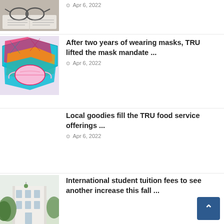[Figure (photo): Partial view of glasses resting on an open book/newspaper]
Apr 6, 2022
[Figure (photo): Colorful patterned face masks piled together]
After two years of wearing masks, TRU lifted the mask mandate ...
Apr 6, 2022
Local goodies fill the TRU food service offerings ...
Apr 6, 2022
[Figure (photo): Building exterior with trees in foreground]
International student tuition fees to see another increase this fall ...